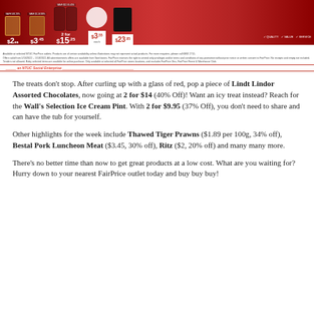[Figure (other): FairPrice supermarket promotional flyer banner showing various sale items including Ritz crackers ($2, save 20%), Bestal canned food ($3.45, save 30%), hair care products (2 for $15.25, save 45%), white pannacotta ($3.55), and another item ($23.95). Red background with product images and price tags. Fine print and NTUC Social Enterprise branding at bottom.]
The treats don't stop. After curling up with a glass of red, pop a piece of Lindt Lindor Assorted Chocolates, now going at 2 for $14 (40% Off)! Want an icy treat instead? Reach for the Wall's Selection Ice Cream Pint. With 2 for $9.95 (37% Off), you don't need to share and can have the tub for yourself.
Other highlights for the week include Thawed Tiger Prawns ($1.89 per 100g, 34% off), Bestal Pork Luncheon Meat ($3.45, 30% off), Ritz ($2, 20% off) and many many more.
There's no better time than now to get great products at a low cost. What are you waiting for? Hurry down to your nearest FairPrice outlet today and buy buy buy!